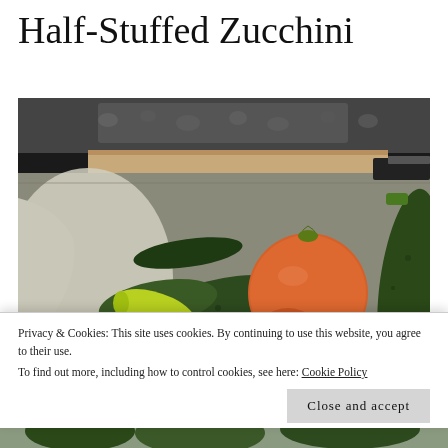Half-Stuffed Zucchini
[Figure (photo): A wooden crate or basket containing fresh vegetables including zucchini (courgette), tomatoes, a small cucumber, and a banana pepper, viewed from above with a knife visible at the top.]
Privacy & Cookies: This site uses cookies. By continuing to use this website, you agree to their use.
To find out more, including how to control cookies, see here: Cookie Policy
Close and accept
[Figure (photo): Partial view of more zucchini at the bottom of the page.]